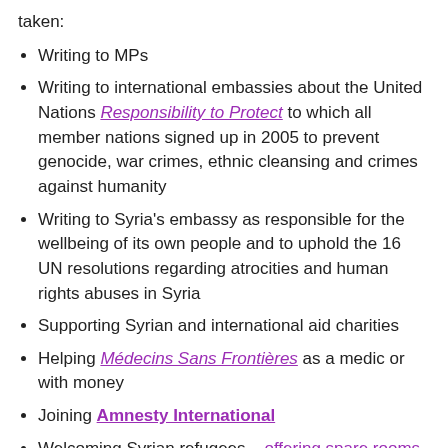taken:
Writing to MPs
Writing to international embassies about the United Nations Responsibility to Protect to which all member nations signed up in 2005 to prevent genocide, war crimes, ethnic cleansing and crimes against humanity
Writing to Syria's embassy as responsible for the wellbeing of its own people and to uphold the 16 UN resolutions regarding atrocities and human rights abuses in Syria
Supporting Syrian and international aid charities
Helping Médecins Sans Frontières as a medic or with money
Joining Amnesty International
Welcoming Syrian refugees – offering spare rooms. Half of Syria have been forced out of their homes, the biggest refugee and displacement crisis since the Second World War, 11 million people
Keeping yourself informed to maintain international pressure on the parties responsible for perpetuating the